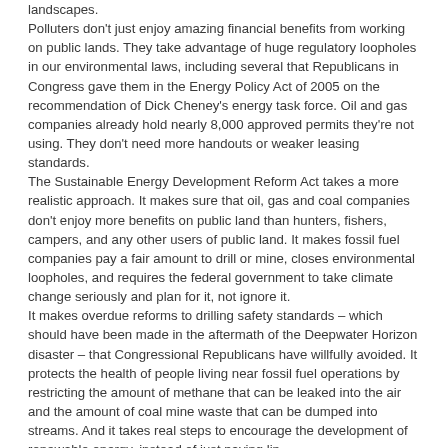landscapes. Polluters don't just enjoy amazing financial benefits from working on public lands. They take advantage of huge regulatory loopholes in our environmental laws, including several that Republicans in Congress gave them in the Energy Policy Act of 2005 on the recommendation of Dick Cheney's energy task force. Oil and gas companies already hold nearly 8,000 approved permits they're not using. They don't need more handouts or weaker leasing standards. The Sustainable Energy Development Reform Act takes a more realistic approach. It makes sure that oil, gas and coal companies don't enjoy more benefits on public land than hunters, fishers, campers, and any other users of public land. It makes fossil fuel companies pay a fair amount to drill or mine, closes environmental loopholes, and requires the federal government to take climate change seriously and plan for it, not ignore it. It makes overdue reforms to drilling safety standards – which should have been made in the aftermath of the Deepwater Horizon disaster – that Congressional Republicans have willfully avoided. It protects the health of people living near fossil fuel operations by restricting the amount of methane that can be leaked into the air and the amount of coal mine waste that can be dumped into streams. And it takes real steps to encourage the development of renewable energy, instead of just paying lip